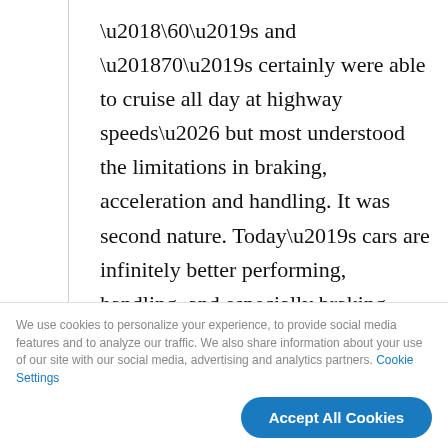’60’s and ’70’s certainly were able to cruise all day at highway speeds… but most understood the limitations in braking, acceleration and handling. It was second nature. Today’s cars are infinitely better performing, handling, and especially braking. Most drivers today take for granted how capable today’s cars are. Those that drove 50 years ago know what to expect with old cars.
We use cookies to personalize your experience, to provide social media features and to analyze our traffic. We also share information about your use of our site with our social media, advertising and analytics partners. Cookie Settings
Accept All Cookies